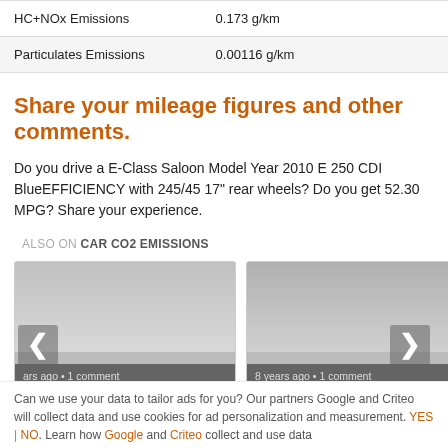| HC+NOx Emissions | 0.173 g/km |
| --- | --- |
| Particulates Emissions | 0.00116 g/km |
Share your mileage figures and other comments.
Do you drive a E-Class Saloon Model Year 2010 E 250 CDI BlueEFFICIENCY with 245/45 17" rear wheels? Do you get 52.30 MPG? Share your experience.
ALSO ON CAR CO2 EMISSIONS
[Figure (screenshot): Two card thumbnails for related articles: 'SKODA Octavia Estate Fuel' and 'MERCEDES-BENZ B-Class', each with '8 years ago • 1 comment', with left and right navigation arrows.]
Can we use your data to tailor ads for you? Our partners Google and Criteo will collect data and use cookies for ad personalization and measurement. YES | NO. Learn how Google and Criteo collect and use data